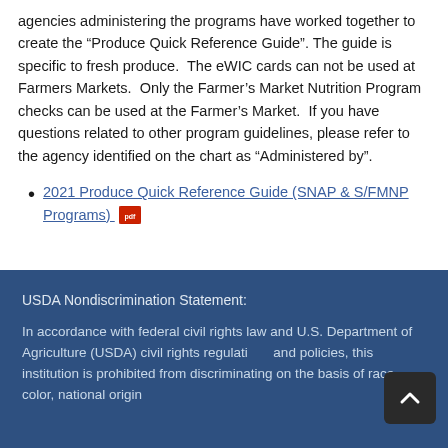agencies administering the programs have worked together to create the “Produce Quick Reference Guide”. The guide is specific to fresh produce.  The eWIC cards can not be used at Farmers Markets.  Only the Farmer’s Market Nutrition Program checks can be used at the Farmer’s Market.  If you have questions related to other program guidelines, please refer to the agency identified on the chart as “Administered by”.
2021 Produce Quick Reference Guide (SNAP & S/FMNP Programs) [pdf icon]
USDA Nondiscrimination Statement:
In accordance with federal civil rights law and U.S. Department of Agriculture (USDA) civil rights regulations and policies, this institution is prohibited from discriminating on the basis of race, color, national origin